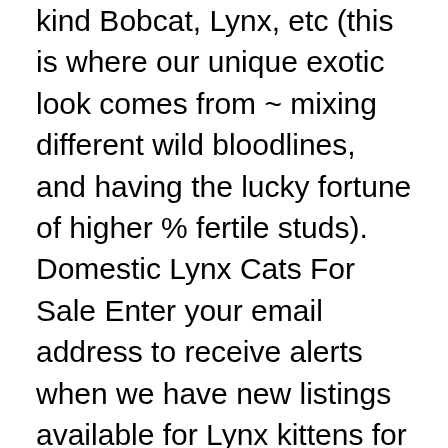kind Bobcat, Lynx, etc (this is where our unique exotic look comes from ~ mixing different wild bloodlines, and having the lucky fortune of higher % fertile studs). Domestic Lynx Cats For Sale Enter your email address to receive alerts when we have new listings available for Lynx kittens for sale UK. Lynx kittens for sale UK. The kittens will not come with their shots. Get More Details. F1 HP Kittens Thursday, 28 May 2020 00:00 F1 (HP) High Percentage Savannah's. RESERVE YOUR KITTEN NOW! Find Bobcat Hybrid Kittens For Sale on Pets4You.com. Reserved. Submit an inquiry and make a reservation today. Not only will you find healthy bloodlines … (NOTE: We are retired and no longer … Selectively Bred for Personal Companionship & Therapy "I am in love with your cats. Health tested for 40 genetic diseases and 20+ traits (including blood type, coat colors, coat types, and morphology). September 15, 2020 Share. Home of the "proven DNA Bobcat Hybrid" F1 BOBCAT • Exotic RARE Hybrid Kittens 2020 AUGUST Hybrid Kittens. Pin. You can cancel your email alerts at any time. Home; About; Our Cats. Meet EGYPT!